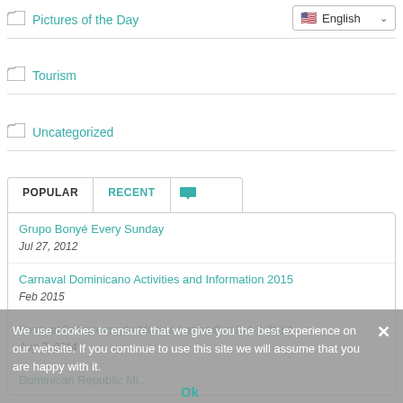Pictures of the Day
Tourism
Uncategorized
POPULAR   RECENT   💬
Grupo Bonyé Every Sunday
Jul 27, 2012
Carnaval Dominicano Activities and Information 2015
Feb 2015
Festival Presidente de Música Latina Oct-3-4-5-2014
Aug 7, 2014
We use cookies to ensure that we give you the best experience on our website. If you continue to use this site we will assume that you are happy with it.
Ok